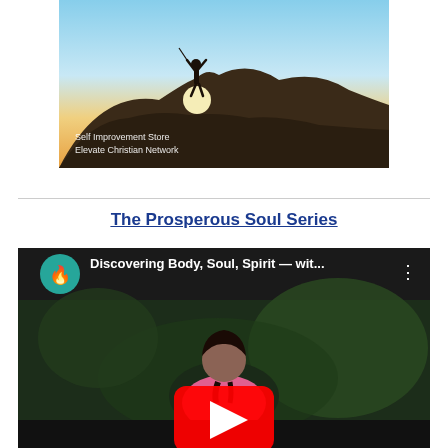[Figure (photo): A silhouetted person standing on top of a rocky hill with arms raised, backlit by a bright sunset sky. Text overlay reads 'Self Improvement Store' and 'Elevate Christian Network'.]
The Prosperous Soul Series
[Figure (screenshot): YouTube video thumbnail showing a woman in a pink jacket sitting at a desk. The video title reads 'Discovering Body, Soul, Spirit — wit...' with a YouTube channel icon (teal flame logo) and a red YouTube play button overlay in the center.]